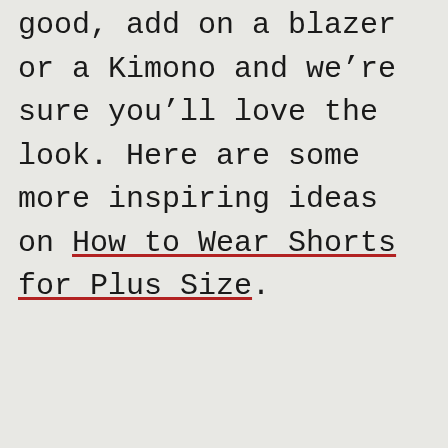good, add on a blazer or a Kimono and we're sure you'll love the look. Here are some more inspiring ideas on How to Wear Shorts for Plus Size.